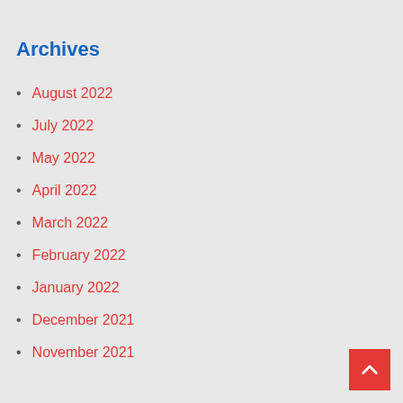Archives
August 2022
July 2022
May 2022
April 2022
March 2022
February 2022
January 2022
December 2021
November 2021